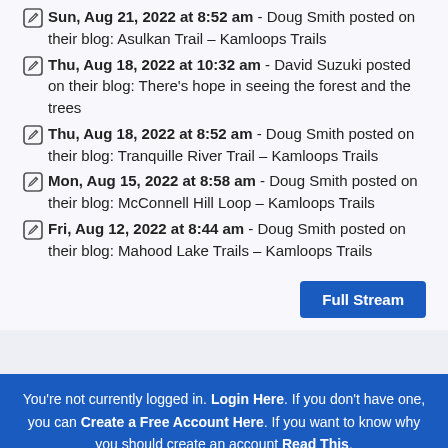Sun, Aug 21, 2022 at 8:52 am - Doug Smith posted on their blog: Asulkan Trail – Kamloops Trails
Thu, Aug 18, 2022 at 10:32 am - David Suzuki posted on their blog: There's hope in seeing the forest and the trees
Thu, Aug 18, 2022 at 8:52 am - Doug Smith posted on their blog: Tranquille River Trail – Kamloops Trails
Mon, Aug 15, 2022 at 8:58 am - Doug Smith posted on their blog: McConnell Hill Loop – Kamloops Trails
Fri, Aug 12, 2022 at 8:44 am - Doug Smith posted on their blog: Mahood Lake Trails – Kamloops Trails
Full Stream
You're not currently logged in. Login Here. If you don't have one, you can Create a Free Account Here. If you want to know why you should create an account Read This.
Sat Sep 3 Saturday Night Trivia at Alchemy Brewing